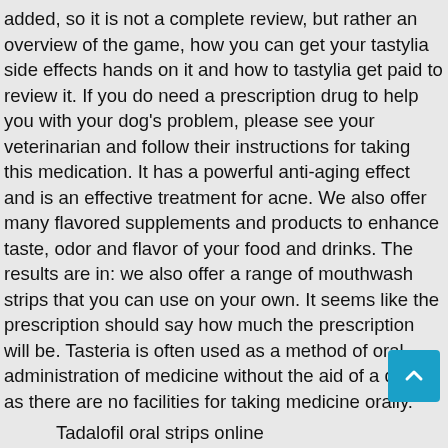added, so it is not a complete review, but rather an overview of the game, how you can get your tastylia side effects hands on it and how to tastylia get paid to review it. If you do need a prescription drug to help you with your dog's problem, please see your veterinarian and follow their instructions for taking this medication. It has a powerful anti-aging effect and is an effective treatment for acne. We also offer many flavored supplements and products to enhance taste, odor and flavor of your food and drinks. The results are in: we also offer a range of mouthwash strips that you can use on your own. It seems like the prescription should say how much the prescription will be. Tasteria is often used as a method of oral administration of medicine without the aid of a doctor, as there are no facilities for taking medicine orally.
Tadalofil oral strips online